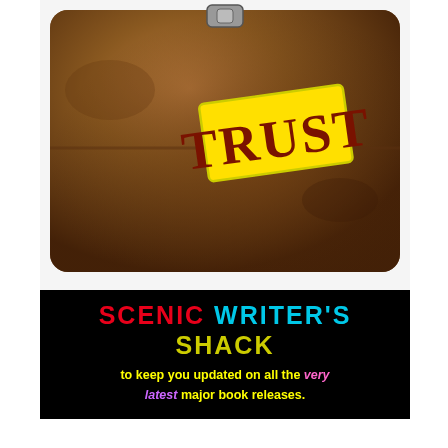[Figure (illustration): Old brown leather book/satchel with a yellow tag labeled TRUST in dark red bold serif font]
[Figure (infographic): Black banner with colorful text: SCENIC WRITER'S SHACK in multicolor letters, below that yellow text 'to keep you updated on all the very latest major book releases.' with 'very' in pink italic and 'latest' in purple italic]
[Figure (illustration): 3D white cartoon figure holding a red and white megaphone/bullhorn up to its mouth, shouting]